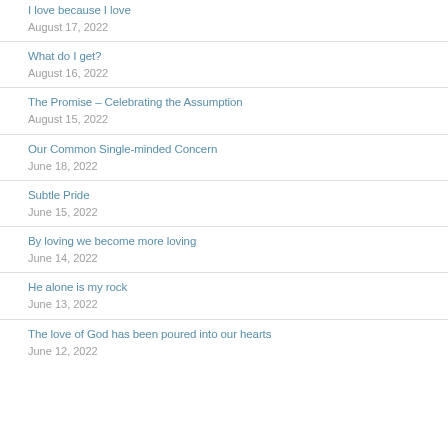I love because I love
August 17, 2022
What do I get?
August 16, 2022
The Promise – Celebrating the Assumption
August 15, 2022
Our Common Single-minded Concern
June 18, 2022
Subtle Pride
June 15, 2022
By loving we become more loving
June 14, 2022
He alone is my rock
June 13, 2022
The love of God has been poured into our hearts
June 12, 2022